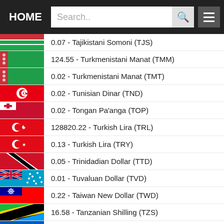HOME | Search..
0.07 - Tajikistani Somoni (TJS)
124.55 - Turkmenistani Manat (TMM)
0.02 - Turkmenistani Manat (TMT)
0.02 - Tunisian Dinar (TND)
0.02 - Tongan Pa'anga (TOP)
128820.22 - Turkish Lira (TRL)
0.13 - Turkish Lira (TRY)
0.05 - Trinidadian Dollar (TTD)
0.01 - Tuvaluan Dollar (TVD)
0.22 - Taiwan New Dollar (TWD)
16.58 - Tanzanian Shilling (TZS)
0.26 - Ukrainian Hryvnia (UAH)
27.26 - Ugandan Shilling (UGX)